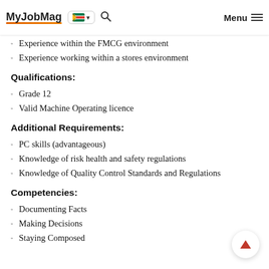MyJobMag [South Africa flag] [search] Menu
Experience within the FMCG environment
Experience working within a stores environment
Qualifications:
Grade 12
Valid Machine Operating licence
Additional Requirements:
PC skills (advantageous)
Knowledge of risk health and safety regulations
Knowledge of Quality Control Standards and Regulations
Competencies:
Documenting Facts
Making Decisions
Staying Composed